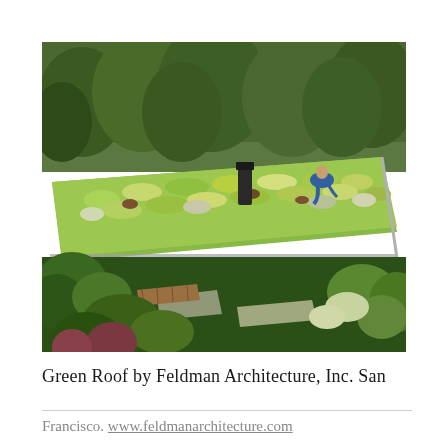[Figure (photo): Aerial view of a lush green roof covered with various succulents and plants, with a person tending to the vegetation. Below the roof is a garden with large stepping stones, a wooden deck, and surrounding dense greenery and trees.]
Green Roof by Feldman Architecture, Inc. San Francisco. www.feldmanarchitecture.com